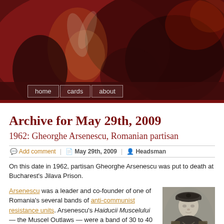[Figure (photo): Dark reddish banner painting showing figures in dramatic scene, with navigation bar below containing home, cards, about buttons]
Archive for May 29th, 2009
1962: Gheorghe Arsenescu, Romanian partisan
Add comment | May 29th, 2009 | Headsman
On this date in 1962, partisan Gheorghe Arsenescu was put to death at Bucharest's Jilava Prison.
Arsenescu was a leader and co-founder of one of Romania's several bands of anti-communist resistance units. Arsenescu's Haiducii Muscelului — the Muscel Outlaws — were a band of 30 to 40 in the Carpathian fooothills who scarcely posed a serious threat to the Romanian state, but who nevertheless managed to elude capture for nine solid years in the 1950's.
[Figure (photo): Black and white portrait photo of Gheorghe Arsenescu in military uniform with cap]
(More about the Haiducii in this Romanian pdf.)